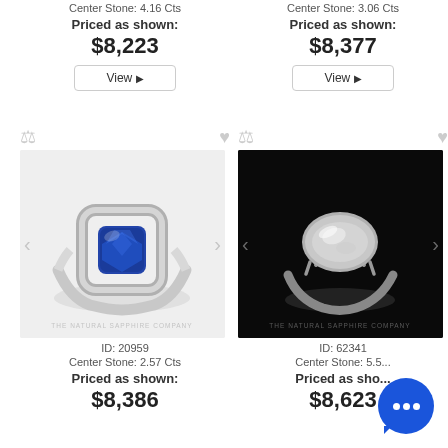Center Stone: 4.16 Cts
Priced as shown:
$8,223
View
Center Stone: 3.06 Cts
Priced as shown:
$8,377
View
[Figure (photo): Cushion-cut blue sapphire ring with diamond halo and pavé band, light grey background. Watermark: THE NATURAL SAPPHIRE COMPANY]
ID: 20959
Center Stone: 2.57 Cts
Priced as shown:
$8,386
[Figure (photo): Oval white sapphire or diamond solitaire ring on dark background. Watermark: THE NATURAL SAPPHIRE COMPANY]
ID: 62341
Center Stone: 5.5...
Priced as shown:
$8,623